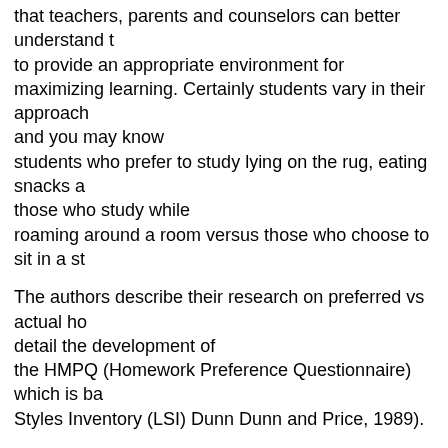that teachers, parents and counselors can better understand t to provide an appropriate environment for maximizing learning. Certainly students vary in their approach and you may know students who prefer to study lying on the rug, eating snacks a those who study while roaming around a room versus those who choose to sit in a st
The authors describe their research on preferred vs actual ho detail the development of the HMPQ (Homework Preference Questionnaire) which is ba Styles Inventory (LSI) Dunn Dunn and Price, 1989).
HMPQ Scores include: Motivation (self-motivated, parent-mo motivated); Persistence; Promptness; Organizational (Structu Perceptual-physical; and Interpersonal.
Although homework is practically universal and there are ma pros and cons of assigning homework, I was surprised to lea research on homework. The few studies available find that the relation between homework and achiev
Thus homework is a wide open subject for those looking for applies to developmental college students as well as other st